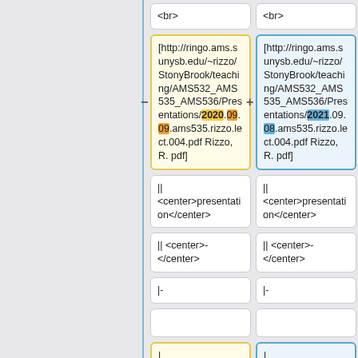<br>
<br>
[http://ringo.ams.sunysb.edu/~rizzo/StonyBrook/teaching/AMS532_AMS535_AMS536/Presentations/2020.09.09.ams535.rizzo.lect.004.pdf Rizzo, R. pdf]
[http://ringo.ams.sunysb.edu/~rizzo/StonyBrook/teaching/AMS532_AMS535_AMS536/Presentations/2021.09.08.ams535.rizzo.lect.004.pdf Rizzo, R. pdf]
|| <center>presentation</center>
|| <center>presentation</center>
|| <center>-</center>
|| <center>-</center>
|-
|-
|
|